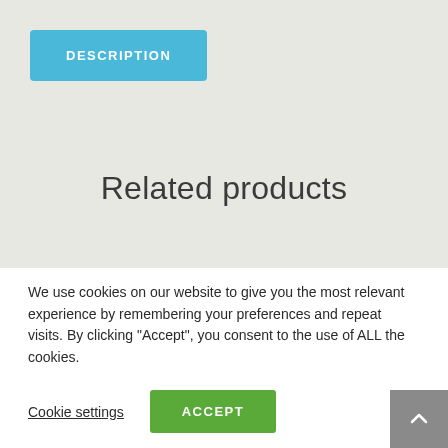DESCRIPTION
Related products
We use cookies on our website to give you the most relevant experience by remembering your preferences and repeat visits. By clicking “Accept”, you consent to the use of ALL the cookies.
Cookie settings
ACCEPT